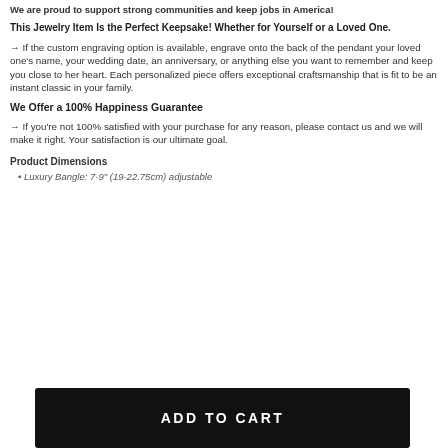We are proud to support strong communities and keep jobs in America!
This Jewelry Item Is the Perfect Keepsake! Whether for Yourself or a Loved One.
→ If the custom engraving option is available, engrave onto the back of the pendant your loved one's name, your wedding date, an anniversary, or anything else you want to remember and keep you close to her heart. Each personalized piece offers exceptional craftsmanship that is fit to be an instant classic in your family.
We Offer a 100% Happiness Guarantee
→ If you're not 100% satisfied with your purchase for any reason, please contact us and we will make it right. Your satisfaction is our ultimate goal.
Product Dimensions
Luxury Bangle: 7-9" (19-22.75cm) adjustable
ADD TO CART